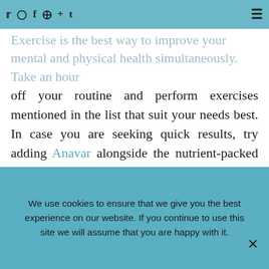social media icons: twitter, instagram, facebook, pinterest, plus, tumblr | hamburger menu
Exercise is the best way to improve your mental and physical health simultaneously. Take an hour off your routine and perform exercises mentioned in the list that suit your needs best. In case you are seeking quick results, try adding Anavar alongside the nutrient-packed diet. Follow your routine religiously and enjoy the results!
[Figure (other): Social share buttons: Twitter (blue), Facebook (dark blue), Google+ (red), Pinterest (dark red)]
We use cookies to ensure that we give you the best experience on our website. If you continue to use this site we will assume that you are happy with it.